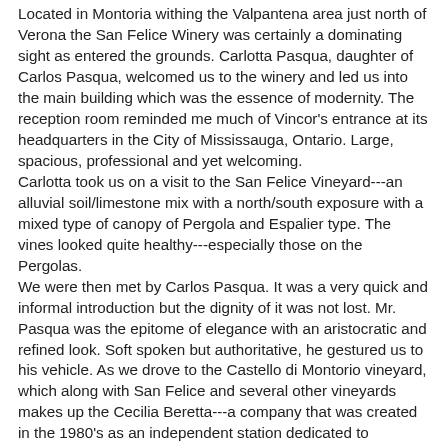Located in Montoria withing the Valpantena area just north of Verona the San Felice Winery was certainly a dominating sight as entered the grounds. Carlotta Pasqua, daughter of Carlos Pasqua, welcomed us to the winery and led us into the main building which was the essence of modernity. The reception room reminded me much of Vincor's entrance at its headquarters in the City of Mississauga, Ontario. Large, spacious, professional and yet welcoming. Carlotta took us on a visit to the San Felice Vineyard---an alluvial soil/limestone mix with a north/south exposure with a mixed type of canopy of Pergola and Espalier type. The vines looked quite healthy---especially those on the Pergolas. We were then met by Carlos Pasqua. It was a very quick and informal introduction but the dignity of it was not lost. Mr. Pasqua was the epitome of elegance with an aristocratic and refined look. Soft spoken but authoritative, he gestured us to his vehicle. As we drove to the Castello di Montorio vineyard, which along with San Felice and several other vineyards makes up the Cecilia Beretta---a company that was created in the 1980's as an independent station dedicated to research and advancement towards the traditional wines of